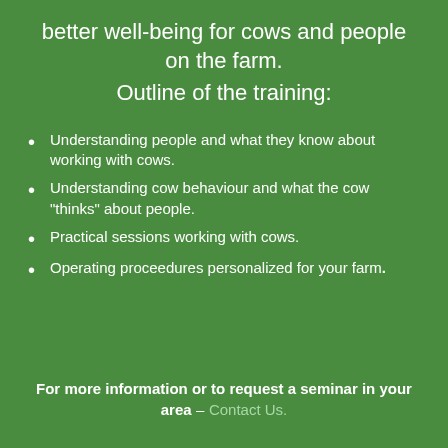better well-being for cows and people on the farm.
Outline of the training:
Understanding people and what they know about working with cows.
Understanding cow behaviour and what the cow "thinks" about people.
Practical sessions working with cows.
Operating proceedures personalized for your farm.
For more information or to request a seminar in your area – Contact Us.